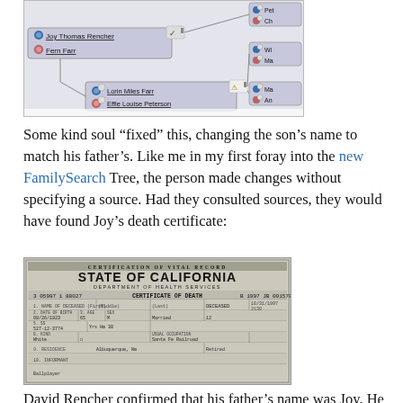[Figure (screenshot): Family tree screenshot showing Joy Thomas Rencher / Fern Farr node connected to Lorin Miles Farr / Effie Louise Peterson node, with right-side nodes partially visible including Pete, Ch, Wi, Ma, Mar, Ann. Checkmark and warning icons visible.]
Some kind soul “fixed” this, changing the son’s name to match his father’s. Like me in my first foray into the new FamilySearch Tree, the person made changes without specifying a source. Had they consulted sources, they would have found Joy’s death certificate:
[Figure (photo): Scan of a California State Certificate of Death. Header reads CERTIFICATION OF VITAL RECORD, STATE OF CALIFORNIA, DEPARTMENT OF HEALTH SERVICES. Certificate number 3 05997 188027, CERTIFICATE OF DEATH, B 1997 JB 001578. Form contains multiple fields with handwritten and typed data.]
David Rencher confirmed that his father’s name was Joy. He said that Joy is a common male given name among the